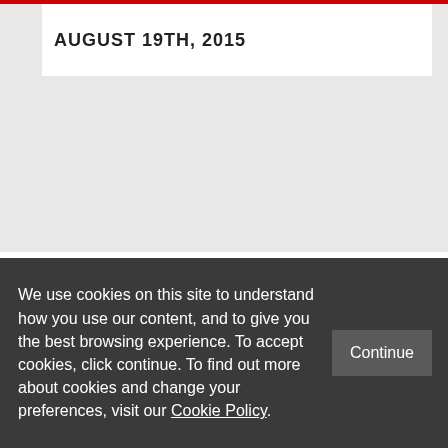AUGUST 19TH, 2015
[Figure (logo): LSE (London School of Economics and Political Science) logo: red box with white LSE lettering, followed by text 'THE LONDON SCHOOL OF ECONOMICS AND POLITICAL SCIENCE' with a small red square.]
© LSE 2015
We use cookies on this site to understand how you use our content, and to give you the best browsing experience. To accept cookies, click continue. To find out more about cookies and change your preferences, visit our Cookie Policy.